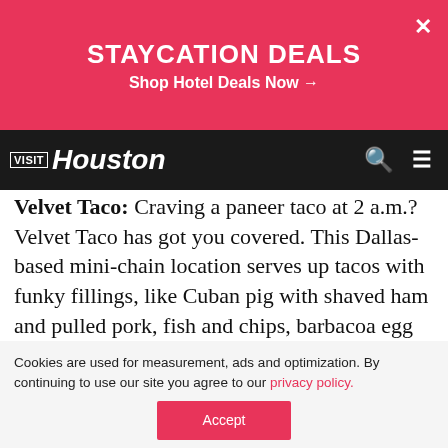[Figure (screenshot): Staycation Deals promotional banner in pink/red with white text and close button]
[Figure (logo): Visit Houston logo on dark navigation bar with search and menu icons]
Velvet Taco: Craving a paneer taco at 2 a.m.? Velvet Taco has got you covered. This Dallas-based mini-chain location serves up tacos with funky fillings, like Cuban pig with shaved ham and pulled pork, fish and chips, barbacoa egg frittata and a rotating WTF special. If you're looking to feed the whole crew, they even have a Bacl... h an entire... The
[Figure (screenshot): Date Night promotional overlay in blue with thumbnail image, title DATE NIGHT! and subtitle Find out what's on at Miller]
Cookies are used for measurement, ads and optimization. By continuing to use our site you agree to our privacy policy.
Accept